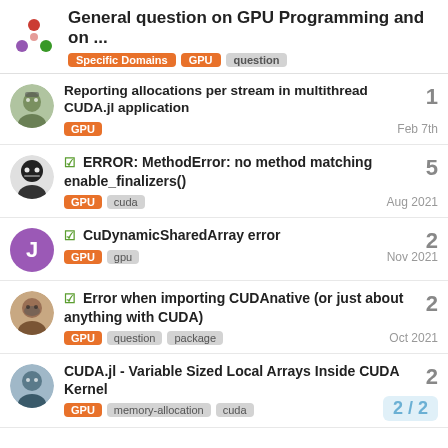General question on GPU Programming and on ...
Reporting allocations per stream in multithread CUDA.jl application — GPU — Feb 7th — replies: 1
☑ ERROR: MethodError: no method matching enable_finalizers() — GPU, cuda — Aug 2021 — replies: 5
☑ CuDynamicSharedArray error — GPU, gpu — Nov 2021 — replies: 2
☑ Error when importing CUDAnative (or just about anything with CUDA) — GPU, question, package — Oct 2021 — replies: 2
CUDA.jl - Variable Sized Local Arrays Inside CUDA Kernel — GPU, memory-allocation, cuda — replies: 2 — page 2/2